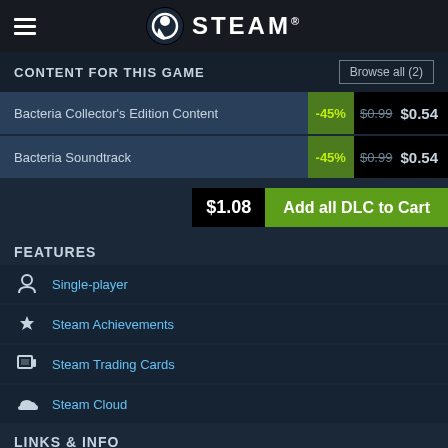STEAM
CONTENT FOR THIS GAME
Browse all (2)
Bacteria Collector's Edition Content  -45%  $0.99  $0.54
Bacteria Soundtrack  -45%  $0.99  $0.54
$1.08  Add all DLC to Cart
FEATURES
Single-player
Steam Achievements
Steam Trading Cards
Steam Cloud
LINKS & INFO
View Steam Achievements (6)